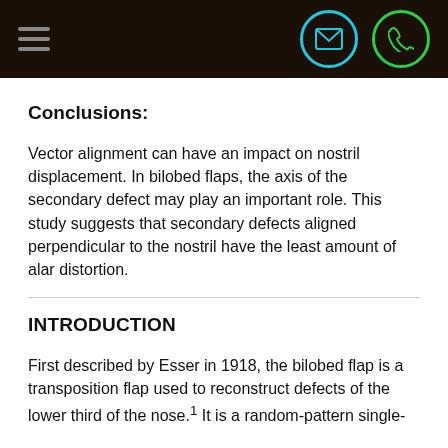[Navigation bar with hamburger menu, email icon, phone icon]
Conclusions:
Vector alignment can have an impact on nostril displacement. In bilobed flaps, the axis of the secondary defect may play an important role. This study suggests that secondary defects aligned perpendicular to the nostril have the least amount of alar distortion.
INTRODUCTION
First described by Esser in 1918, the bilobed flap is a transposition flap used to reconstruct defects of the lower third of the nose.1 It is a random-pattern single-